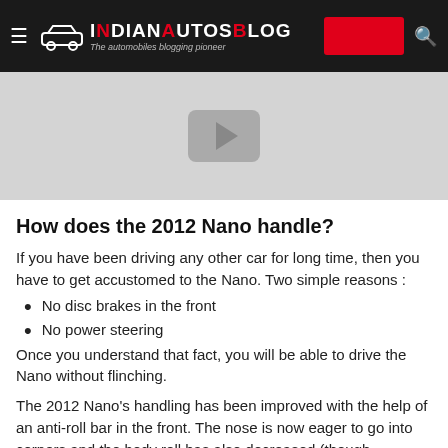IndianAutosBlog - The automobiles blogging pioneer
[Figure (photo): Video thumbnail placeholder with play button on grey background]
How does the 2012 Nano handle?
If you have been driving any other car for long time, then you have to get accustomed to the Nano. Two simple reasons :
No disc brakes in the front
No power steering
Once you understand that fact, you will be able to drive the Nano without flinching.
The 2012 Nano's handling has been improved with the help of an anti-roll bar in the front. The nose is now eager to go into corners and the body roll has also decreased (though